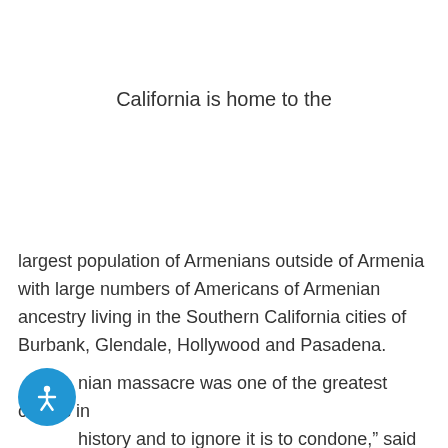California is home to the
largest population of Armenians outside of Armenia with large numbers of Americans of Armenian ancestry living in the Southern California cities of Burbank, Glendale, Hollywood and Pasadena.
Armenian massacre was one of the greatest crimes in history and to ignore it is to condone," said Assemblymember Portantine, "I am honored to join my
[Figure (illustration): Blue circular accessibility button icon with white person figure]